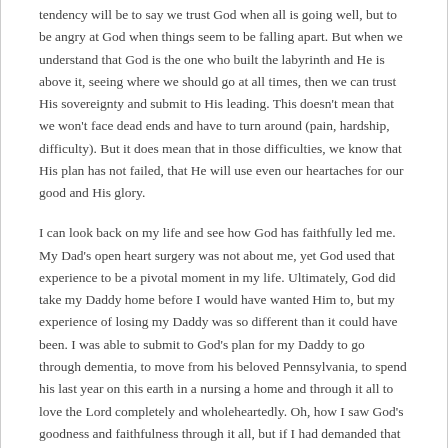tendency will be to say we trust God when all is going well, but to be angry at God when things seem to be falling apart. But when we understand that God is the one who built the labyrinth and He is above it, seeing where we should go at all times, then we can trust His sovereignty and submit to His leading. This doesn't mean that we won't face dead ends and have to turn around (pain, hardship, difficulty). But it does mean that in those difficulties, we know that His plan has not failed, that He will use even our heartaches for our good and His glory.
I can look back on my life and see how God has faithfully led me. My Dad's open heart surgery was not about me, yet God used that experience to be a pivotal moment in my life. Ultimately, God did take my Daddy home before I would have wanted Him to, but my experience of losing my Daddy was so different than it could have been. I was able to submit to God's plan for my Daddy to go through dementia, to move from his beloved Pennsylvania, to spend his last year on this earth in a nursing a home and through it all to love the Lord completely and wholeheartedly. Oh, how I saw God's goodness and faithfulness through it all, but if I had demanded that God not allow anything bad to happen, my experience of all of it would have been exponentially more difficult.